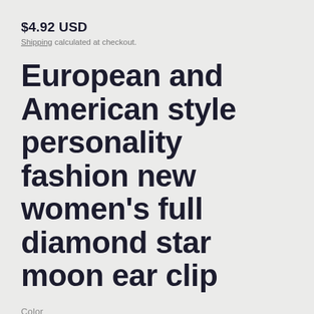$4.92 USD
Shipping calculated at checkout.
European and American style personality fashion new women's full diamond star moon ear clip
Color
Golden  Silvery